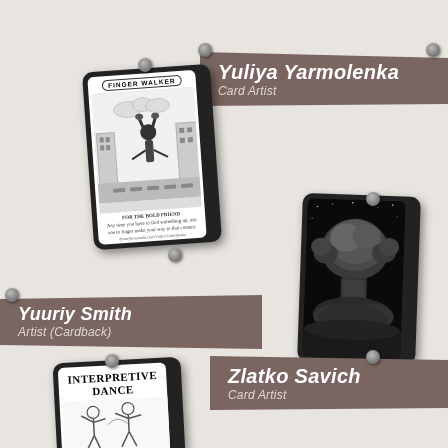[Figure (illustration): Card artwork: Finger Walker - a figure doing a handstand on fingers over a cityscape, black and white illustration]
Yuliya Yarmolenka
Card Artist
[Figure (illustration): Card artwork: Black and white illustration of a mushroom cloud nuclear explosion]
Yuuriy Smith
Artist (Cardback)
[Figure (illustration): Card artwork: Interpretive Dance - illustrated figures dancing]
Zlatko Savich
Card Artist